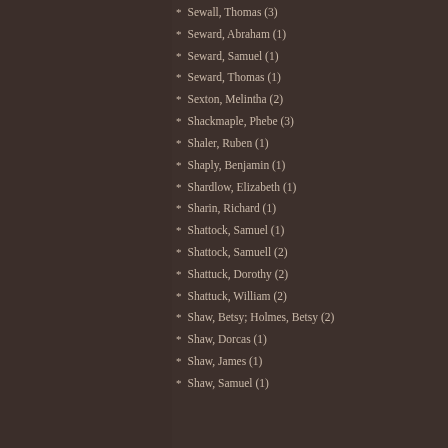Sewall, Thomas (3)
Seward, Abraham (1)
Seward, Samuel (1)
Seward, Thomas (1)
Sexton, Melintha (2)
Shackmaple, Phebe (3)
Shaler, Ruben (1)
Shaply, Benjamin (1)
Shardlow, Elizabeth (1)
Sharin, Richard (1)
Shattock, Samuel (1)
Shattock, Samuell (2)
Shattuck, Dorothy (2)
Shattuck, William (2)
Shaw, Betsy; Holmes, Betsy (2)
Shaw, Dorcas (1)
Shaw, James (1)
Shaw, Samuel (1)